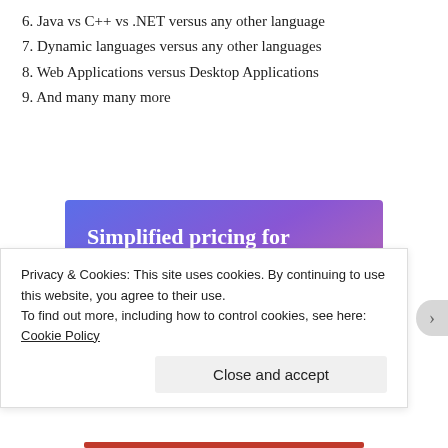6. Java vs C++ vs .NET versus any other language
7. Dynamic languages versus any other languages
8. Web Applications versus Desktop Applications
9. And many many more
[Figure (screenshot): Advertisement banner with gradient blue-purple background, text 'Simplified pricing for everything you need.' and a pink 'Build Your Website' button, with a 3D price tag graphic on the right.]
Privacy & Cookies: This site uses cookies. By continuing to use this website, you agree to their use.
To find out more, including how to control cookies, see here: Cookie Policy
Close and accept